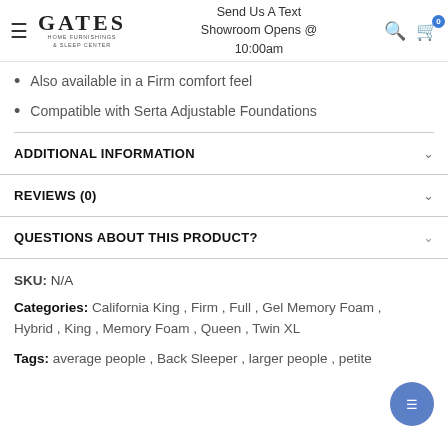GATES HOME FURNISHINGS & SLEEP CENTER | Send Us A Text | Showroom Opens @ 10:00am
Also available in a Firm comfort feel
Compatible with Serta Adjustable Foundations
ADDITIONAL INFORMATION
REVIEWS (0)
QUESTIONS ABOUT THIS PRODUCT?
SKU: N/A
Categories: California King , Firm , Full , Gel Memory Foam , Hybrid , King , Memory Foam , Queen , Twin XL
Tags: average people , Back Sleeper , larger people , petite